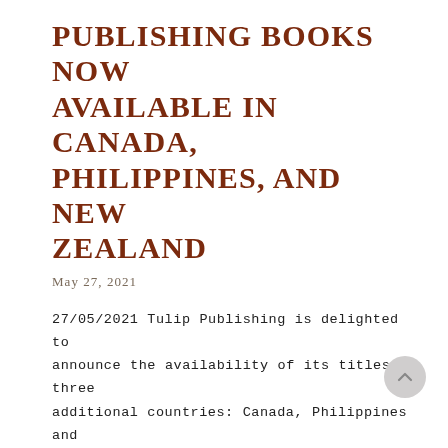PUBLISHING BOOKS NOW AVAILABLE IN CANADA, PHILIPPINES, AND NEW ZEALAND
May 27, 2021
27/05/2021 Tulip Publishing is delighted to announce the availability of its titles in three additional countries: Canada, Philippines and New Zealand. Its releases will be available from the following three…
PRESS RELEASE: EDITORIAL BOARD CHANGES
September 21, 2020